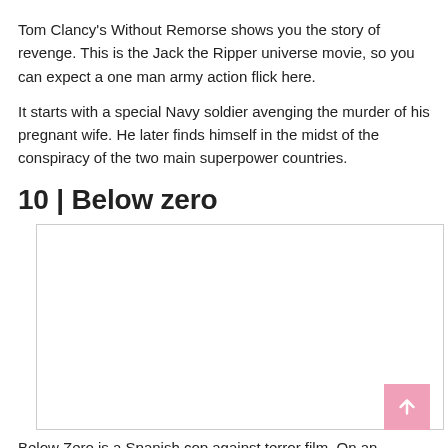Tom Clancy's Without Remorse shows you the story of revenge. This is the Jack the Ripper universe movie, so you can expect a one man army action flick here.
It starts with a special Navy soldier avenging the murder of his pregnant wife. He later finds himself in the midst of the conspiracy of the two main superpower countries.
10 | Below zero
[Figure (photo): Image placeholder for Below Zero movie, white box with border]
Below Zero is a Spanish cop against terror film. On an isolated